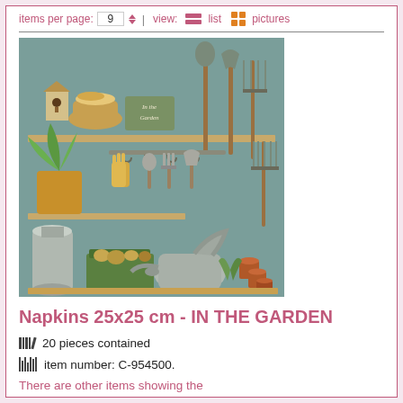items per page: 9  | view: list  pictures
[Figure (illustration): Garden tools scene: shelves on a green wall with birdhouses, baskets, gloves, trowels, forks, spades, pitchforks, a potted spider plant, a metal watering can, terracotta pots in a green crate, and a large silver jar. Soft painted style. Label reads 'In the Garden'.]
Napkins 25x25 cm - IN THE GARDEN
20 pieces contained
item number: C-954500.
There are other items showing the